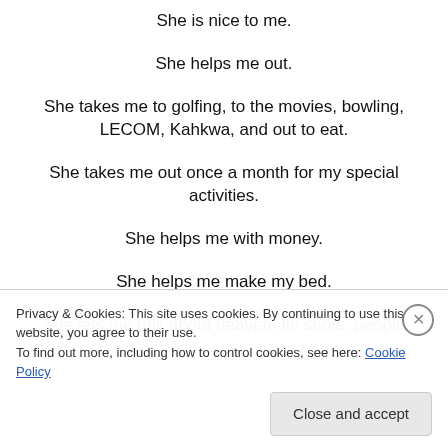She is nice to me.
She helps me out.
She takes me to golfing, to the movies, bowling, LECOM, Kahkwa, and out to eat.
She takes me out once a month for my special activities.
She helps me with money.
She helps me make my bed.
She lets me talk about heaven, flu shots, people
Privacy & Cookies: This site uses cookies. By continuing to use this website, you agree to their use. To find out more, including how to control cookies, see here: Cookie Policy
Close and accept